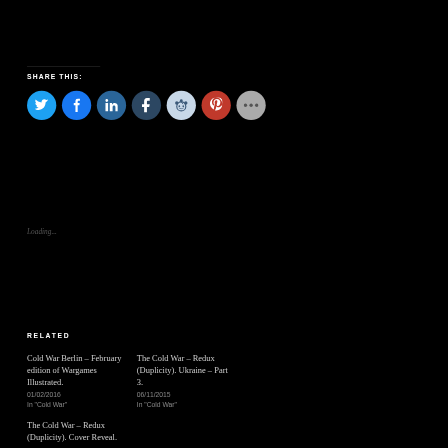SHARE THIS:
[Figure (infographic): Row of 7 social media share buttons: Twitter (blue), Facebook (blue), LinkedIn (teal-blue), Tumblr (dark blue), Reddit (light blue), Pinterest (red), More (grey)]
Loading...
RELATED
Cold War Berlin – February edition of Wargames Illustrated.
01/02/2016
In "Cold War"
The Cold War – Redux (Duplicity). Ukraine – Part 3.
06/11/2015
In "Cold War"
The Cold War – Redux (Duplicity). Cover Reveal.